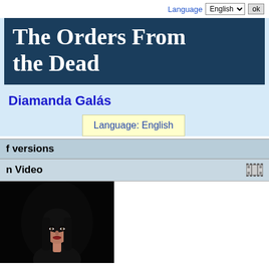Language English ok
The Orders From the Dead
Diamanda Galás
Language: English
f versions
n Video
[Figure (photo): Video thumbnail showing a dark-haired person looking upward against a black background]